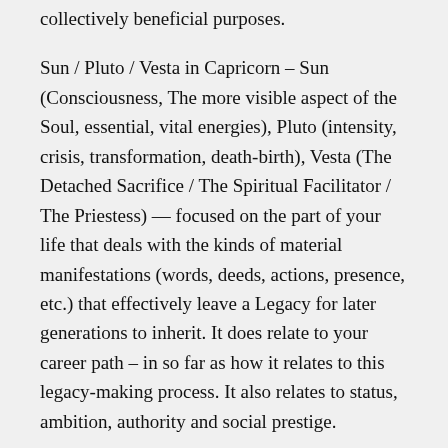collectively beneficial purposes.
Sun / Pluto / Vesta in Capricorn – Sun (Consciousness, The more visible aspect of the Soul, essential, vital energies), Pluto (intensity, crisis, transformation, death-birth), Vesta (The Detached Sacrifice / The Spiritual Facilitator / The Priestess) — focused on the part of your life that deals with the kinds of material manifestations (words, deeds, actions, presence, etc.) that effectively leave a Legacy for later generations to inherit. It does relate to your career path – in so far as how it relates to this legacy-making process. It also relates to status, ambition, authority and social prestige.
The Sun is also conjunct asteroid Okyrhoe (15 Capricorn). She was the daughter of Chiron and